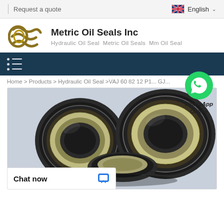Request a quote | English
Metric Oil Seals Inc
Hydraulic Oil Seal  Metric Oil Seals  Mm Oil Seal
Home > Products > Hydraulic Oil Seal > VAJ 60 82 12 P1... GJ...
[Figure (photo): Close-up photo of multiple hydraulic oil seals (circular rubber/metal seals) arranged overlapping each other, showing the cross-section and exterior views]
WhatsApp Online
Chat now